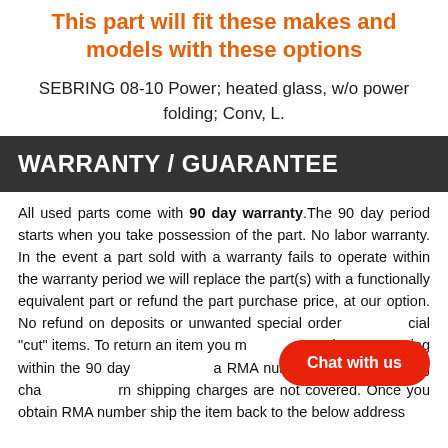This part will fit these makes and models with these options
SEBRING 08-10 Power; heated glass, w/o power folding; Conv, L.
WARRANTY / GUARANTEE
All used parts come with 90 day warranty.The 90 day period starts when you take possession of the part. No labor warranty. In the event a part sold with a warranty fails to operate within the warranty period we will replace the part(s) with a functionally equivalent part or refund the part purchase price, at our option. No refund on deposits or unwanted special order or special "cut" items. To return an item you must contact us via ebay messaging within the 90 day period to receive a RMA number. Original shipping charges and return shipping charges are not covered. Once you obtain RMA number ship the item back to the below address